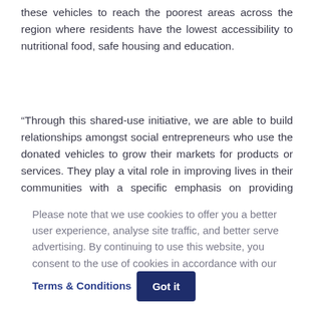these vehicles to reach the poorest areas across the region where residents have the lowest accessibility to nutritional food, safe housing and education.
“Through this shared-use initiative, we are able to build relationships amongst social entrepreneurs who use the donated vehicles to grow their markets for products or services. They play a vital role in improving lives in their communities with a specific emphasis on providing nutrition and education.”
Please note that we use cookies to offer you a better user experience, analyse site traffic, and better serve advertising. By continuing to use this website, you consent to the use of cookies in accordance with our Terms & Conditions